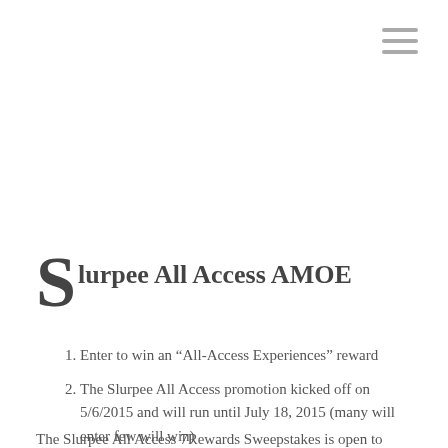Slurpee All Access AMOE
Enter to win an “All-Access Experiences” reward
The Slurpee All Access promotion kicked off on 5/6/2015 and will run until July 18, 2015 (many will enter few will win)
The Slurpee All Access 7Rewards Sweepstakes is open to